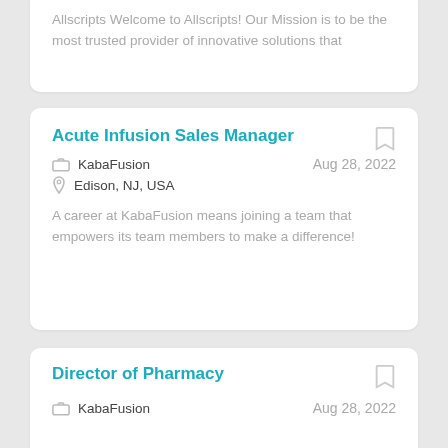Allscripts Welcome to Allscripts! Our Mission is to be the most trusted provider of innovative solutions that
Acute Infusion Sales Manager
KabaFusion   Aug 28, 2022
Edison, NJ, USA
A career at KabaFusion means joining a team that empowers its team members to make a difference!
Director of Pharmacy
KabaFusion   Aug 28, 2022
Edison, NJ, USA
A career at KabaFusion means joining a team that empowers its team members to make a difference! s